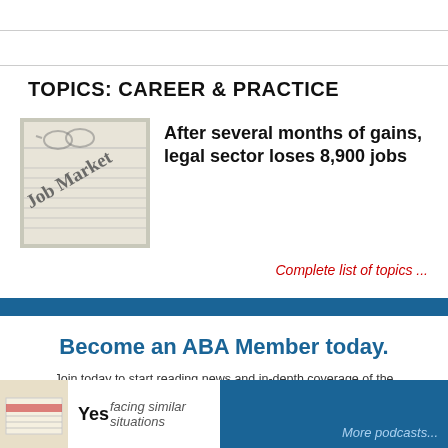TOPICS: CAREER & PRACTICE
[Figure (photo): Newspaper with 'Job Market' headline visible]
After several months of gains, legal sector loses 8,900 jobs
Complete list of topics ...
Become an ABA Member today.
Join today to start reading news and in-depth coverage of the profession from the ABA Journal.
JOIN THE ABA
Already an ABA Member? Sign in
Yes   facing similar situations
More podcasts...